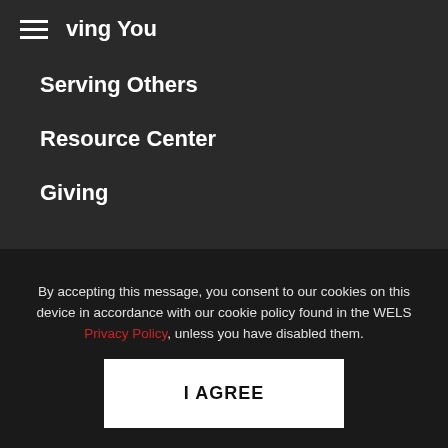ving You
Serving Others
Resource Center
Giving
ABOUT
What We Believe
Who We Are
History
Statement of Beliefs
By accepting this message, you consent to our cookies on this device in accordance with our cookie policy found in the WELS Privacy Policy, unless you have disabled them.
I AGREE